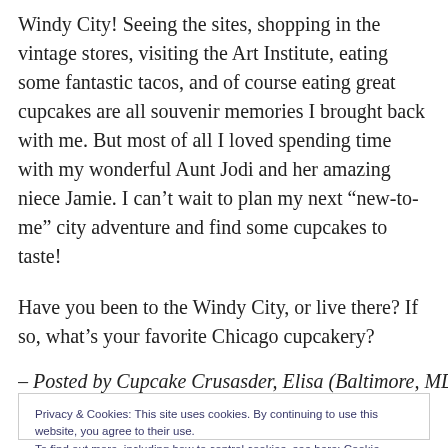Windy City! Seeing the sites, shopping in the vintage stores, visiting the Art Institute, eating some fantastic tacos, and of course eating great cupcakes are all souvenir memories I brought back with me. But most of all I loved spending time with my wonderful Aunt Jodi and her amazing niece Jamie. I can't wait to plan my next “new-to-me” city adventure and find some cupcakes to taste!
Have you been to the Windy City, or live there? If so, what’s your favorite Chicago cupcakery?
– Posted by Cupcake Crusasder, Elisa (Baltimore, MD)
Privacy & Cookies: This site uses cookies. By continuing to use this website, you agree to their use.
To find out more, including how to control cookies, see here: Cookie Policy